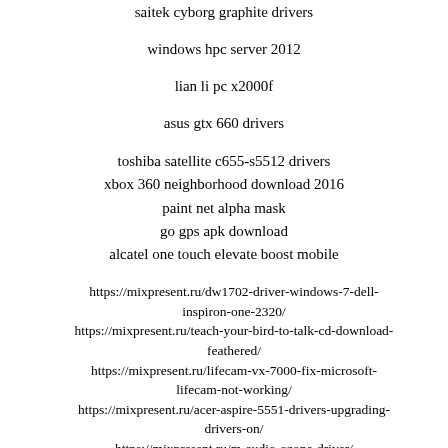saitek cyborg graphite drivers
windows hpc server 2012
lian li pc x2000f
asus gtx 660 drivers
toshiba satellite c655-s5512 drivers
xbox 360 neighborhood download 2016
paint net alpha mask
go gps apk download
alcatel one touch elevate boost mobile
https://mixpresent.ru/dw1702-driver-windows-7-dell-inspiron-one-2320/
https://mixpresent.ru/teach-your-bird-to-talk-cd-download-feathered/
https://mixpresent.ru/lifecam-vx-7000-fix-microsoft-lifecam-not-working/
https://mixpresent.ru/acer-aspire-5551-drivers-upgrading-drivers-on/
https://mixpresent.ru/m-audio-ozone-driver/
https://mixpresent.ru/lenovo-t520-wireless-driver-updated-lenovo-driver/
https://mixpresent.ru/broadcom-card-reader-driver-